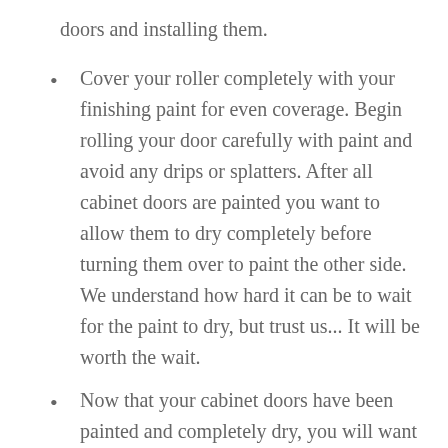doors and installing them.
Cover your roller completely with your finishing paint for even coverage. Begin rolling your door carefully with paint and avoid any drips or splatters. After all cabinet doors are painted you want to allow them to dry completely before turning them over to paint the other side. We understand how hard it can be to wait for the paint to dry, but trust us... It will be worth the wait.
Now that your cabinet doors have been painted and completely dry, you will want to grab a partner to help you install the doors to the cabinet boxes. Remove the hinges and screws from your bag of hardware. Be